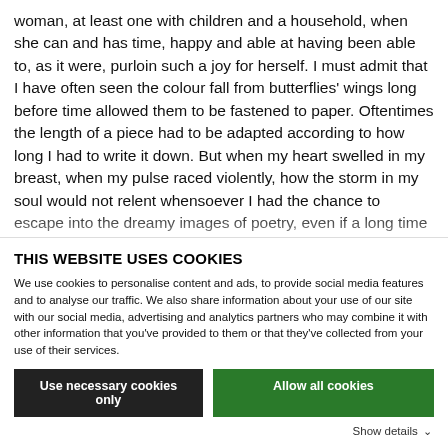woman, at least one with children and a household, when she can and has time, happy and able at having been able to, as it were, purloin such a joy for herself. I must admit that I have often seen the colour fall from butterflies' wings long before time allowed them to be fastened to paper. Oftentimes the length of a piece had to be adapted according to how long I had to write it down. But when my heart swelled in my breast, when my pulse raced violently, how the storm in my soul would not relent whensoever I had the chance to escape into the dreamy images of poetry, even if a long time passed before I
THIS WEBSITE USES COOKIES
We use cookies to personalise content and ads, to provide social media features and to analyse our traffic. We also share information about your use of our site with our social media, advertising and analytics partners who may combine it with other information that you've provided to them or that they've collected from your use of their services.
Use necessary cookies only
Allow all cookies
Show details